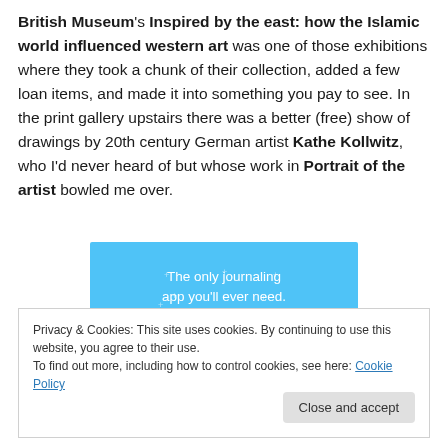British Museum's Inspired by the east: how the Islamic world influenced western art was one of those exhibitions where they took a chunk of their collection, added a few loan items, and made it into something you pay to see. In the print gallery upstairs there was a better (free) show of drawings by 20th century German artist Kathe Kollwitz, who I'd never heard of but whose work in Portrait of the artist bowled me over.
[Figure (other): Light blue advertisement banner reading 'The only journaling app you'll ever need.' with small decorative stars]
Privacy & Cookies: This site uses cookies. By continuing to use this website, you agree to their use.
To find out more, including how to control cookies, see here: Cookie Policy